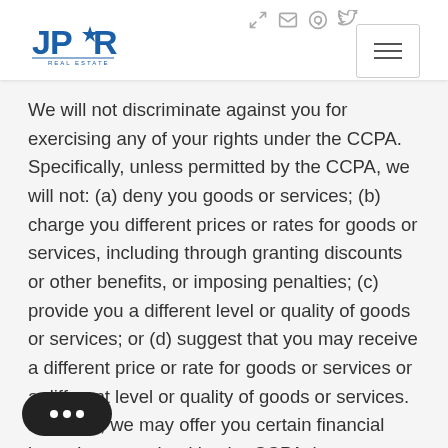JPR Real Estate — navigation header
We will not discriminate against you for exercising any of your rights under the CCPA. Specifically, unless permitted by the CCPA, we will not: (a) deny you goods or services; (b) charge you different prices or rates for goods or services, including through granting discounts or other benefits, or imposing penalties; (c) provide you a different level or quality of goods or services; or (d) suggest that you may receive a different price or rate for goods or services or a different level or quality of goods or services. However, we may offer you certain financial incentives permitted by the CCPA that can result in different prices, rates, or quality levels. Any CCPA-permitted financial incentive we offer will reasonably relate to the value of